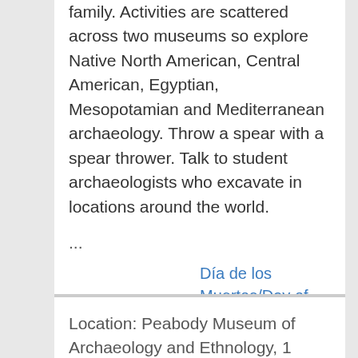family. Activities are scattered across two museums so explore Native North American, Central American, Egyptian, Mesopotamian and Mediterranean archaeology. Throw a spear with a spear thrower. Talk to student archaeologists who excavate in locations around the world.
...
Día de los Muertos/Day of the Dead Commemoration (at the Peabody Museum)
Location: Peabody Museum of Archaeology and Ethnology, 1